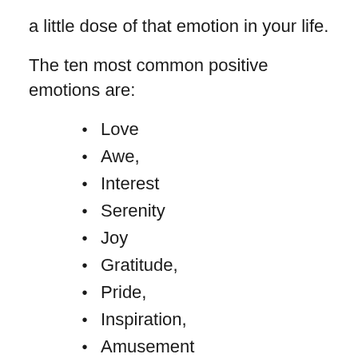a little dose of that emotion in your life.
The ten most common positive emotions are:
Love
Awe,
Interest
Serenity
Joy
Gratitude,
Pride,
Inspiration,
Amusement
Hope.